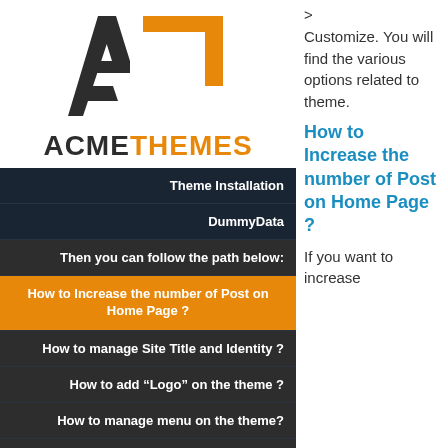[Figure (logo): AcmeThemes logo — stylized A and T letterform in dark gray and orange, with ACMETHEMES text below]
Theme Installation
DummyData
Then you can follow the path below:
How to Increase the number of Post on Home Page ?
How to manage Site Title and Identity ?
How to add “Logo” on the theme ?
How to manage menu on the theme?
How to add Widgets on Sidebars ?
> Customize. You will find the various options related to theme.
How to Increase the number of Post on Home Page ?
If you want to increase